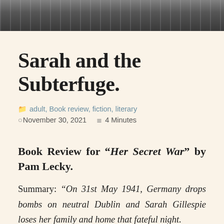[Figure (photo): A dark, muted photograph strip showing figures in an outdoor urban setting, used as a decorative header banner.]
Sarah and the Subterfuge.
adult, Book review, fiction, literary
November 30, 2021   4 Minutes
Book Review for “Her Secret War” by Pam Lecky.
Summary: “On 31st May 1941, Germany drops bombs on neutral Dublin and Sarah Gillespie loses her family and home that fateful night.